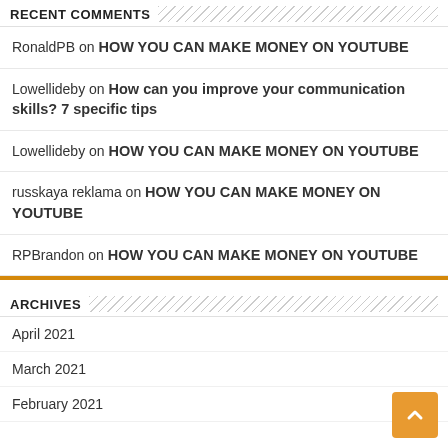RECENT COMMENTS
RonaldPB on HOW YOU CAN MAKE MONEY ON YOUTUBE
Lowellideby on How can you improve your communication skills? 7 specific tips
Lowellideby on HOW YOU CAN MAKE MONEY ON YOUTUBE
russkaya reklama on HOW YOU CAN MAKE MONEY ON YOUTUBE
RPBrandon on HOW YOU CAN MAKE MONEY ON YOUTUBE
ARCHIVES
April 2021
March 2021
February 2021